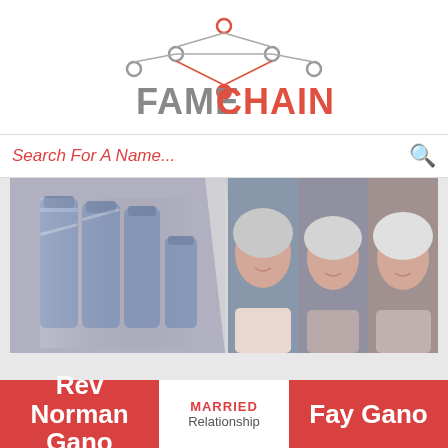[Figure (logo): FameChain logo with network graph nodes above the text FAME in gray and CHAIN in red-orange]
Search For A Name...
[Figure (photo): Advertisement banner showing hair care products (tubes/bottles labeled FLOT) on left side and three older women with silver/white hair on right side]
Rev Norman Gano
MARRIED Relationship
Fay Gano